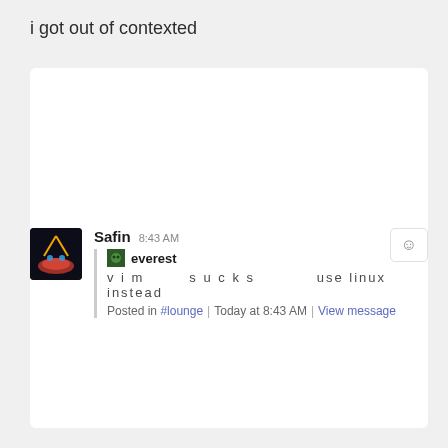i got out of contexted
[Figure (screenshot): Chat message from user 'Safin' at 8:43 AM quoting 'everest' who wrote 'vim   sucks   use linux instead', with metadata 'Posted in #lounge | Today at 8:43 AM | View message']